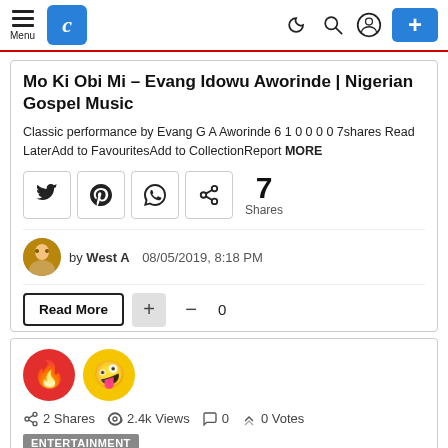Menu [logo C] [dark mode] [search] [account] [+ button]
Mo Ki Obi Mi – Evang Idowu Aworinde | Nigerian Gospel Music
Classic performance by Evang G A Aworinde 6 1 0 0 0 0 7shares Read LaterAdd to FavouritesAdd to CollectionReport MORE
[Figure (infographic): Social share buttons: Twitter, Pinterest, WhatsApp, share icon. Share count: 7 Shares.]
by West A  08/05/2019, 8:18 PM
Read More  +  -  0
[Figure (infographic): Two reaction emoji circles: red fire emoji and yellow crazy face emoji. Stats: 2 Shares, 2.4k Views, 0 comments, 0 Votes. Tag: ENTERTAINMENT]